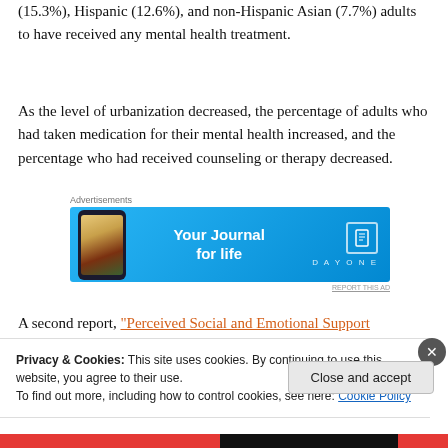(15.3%), Hispanic (12.6%), and non-Hispanic Asian (7.7%) adults to have received any mental health treatment.
As the level of urbanization decreased, the percentage of adults who had taken medication for their mental health increased, and the percentage who had received counseling or therapy decreased.
[Figure (other): Advertisement banner for DayOne journal app with blue gradient background, showing a phone graphic and text 'Your Journal for life' with DAYONE logo]
A second report, “Perceived Social and Emotional Support
Privacy & Cookies: This site uses cookies. By continuing to use this website, you agree to their use.
To find out more, including how to control cookies, see here: Cookie Policy